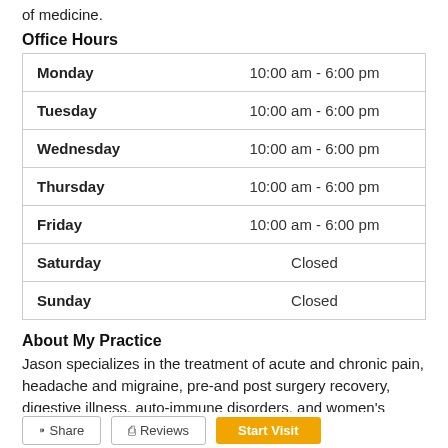of medicine.
Office Hours
| Day | Hours |
| --- | --- |
| Monday | 10:00 am - 6:00 pm |
| Tuesday | 10:00 am - 6:00 pm |
| Wednesday | 10:00 am - 6:00 pm |
| Thursday | 10:00 am - 6:00 pm |
| Friday | 10:00 am - 6:00 pm |
| Saturday | Closed |
| Sunday | Closed |
About My Practice
Jason specializes in the treatment of acute and chronic pain, headache and migraine, pre-and post surgery recovery, digestive illness, auto-immune disorders, and women's medicine.